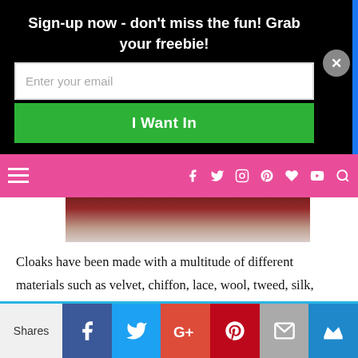Sign-up now - don't miss the fun! Grab your freebie!
[Figure (screenshot): Email signup form with white input field labeled 'Enter your email' and a green 'I Want In' button on a black background, with a blue bar and close button on the right]
[Figure (screenshot): Pink navigation bar with hamburger menu on left and social media icons (Facebook, Twitter, Instagram, Pinterest, heart, YouTube) and search icon on right]
[Figure (photo): Partial view of a person wearing a dark red/maroon cloak or garment, cropped at the top]
Cloaks have been made with a multitude of different materials such as velvet, chiffon, lace, wool, tweed, silk, satin, etc. The best fabric seems to be wool as it would keep one the warmest, which seems like the primary goal of these cloaks. Cloaks have either a clasp, brooch,
[Figure (screenshot): Social share bar at the bottom with 'Shares' label, followed by Facebook (blue), Twitter (light blue), Google+ (red), Pinterest (dark red), Email (gray), and crown icon (blue) buttons]